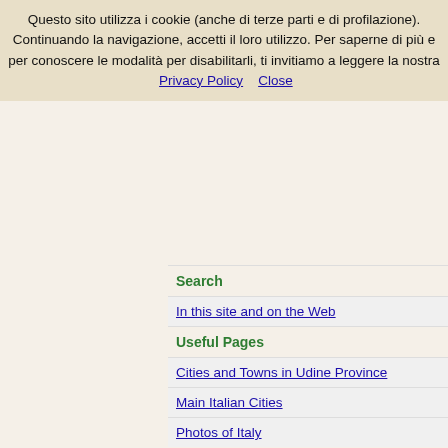Questo sito utilizza i cookie (anche di terze parti e di profilazione). Continuando la navigazione, accetti il loro utilizzo. Per saperne di più e per conoscere le modalità per disabilitarli, ti invitiamo a leggere la nostra Privacy Policy   Close
Search
In this site and on the Web
Useful Pages
Cities and Towns in Udine Province
Main Italian Cities
Photos of Italy